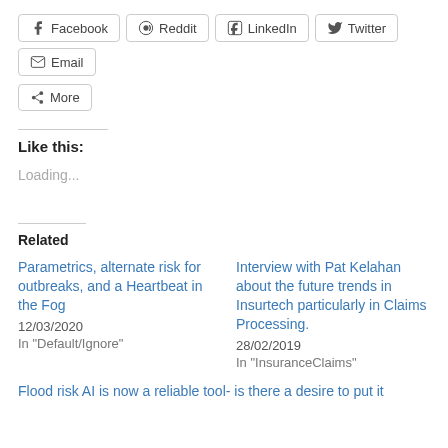Facebook
Reddit
LinkedIn
Twitter
Email
More
Like this:
Loading...
Related
Parametrics, alternate risk for outbreaks, and a Heartbeat in the Fog
12/03/2020
In "Default/Ignore"
Interview with Pat Kelahan about the future trends in Insurtech particularly in Claims Processing.
28/02/2019
In "InsuranceClaims"
Flood risk AI is now a reliable tool- is there a desire to put it